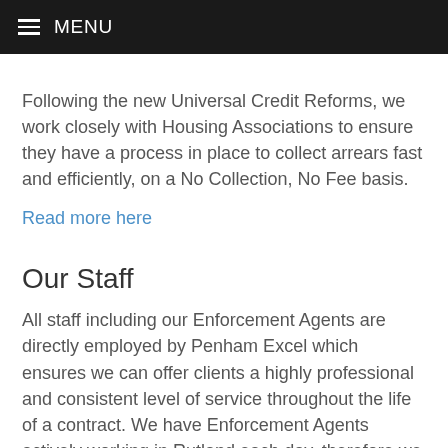MENU
Following the new Universal Credit Reforms, we work closely with Housing Associations to ensure they have a process in place to collect arrears fast and efficiently, on a No Collection, No Fee basis.
Read more here
Our Staff
All staff including our Enforcement Agents are directly employed by Penham Excel which ensures we can offer clients a highly professional and consistent level of service throughout the life of a contract. We have Enforcement Agents actively working in Rutland each day, therefore we are assured to maximise interaction